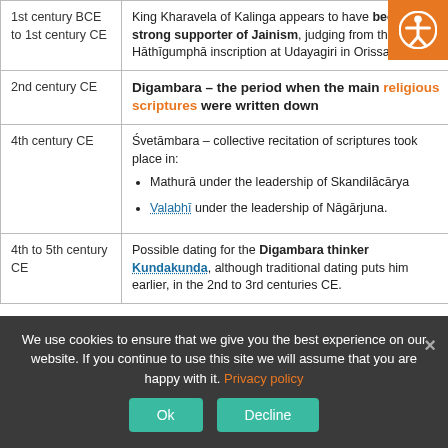| Period | Description |
| --- | --- |
| 1st century BCE to 1st century CE | King Kharavela of Kalinga appears to have been a strong supporter of Jainism, judging from the famous Hāthīgumphā inscription at Udayagiri in Orissa. |
| 2nd century CE | Digambara – the period when the main religious scriptures were written down |
| 4th century CE | Śvetāmbara – collective recitation of scriptures took place in:
• Mathurā under the leadership of Skandilācārya
• Valabhī under the leadership of Nāgārjuna. |
| 4th to 5th century CE | Possible dating for the Digambara thinker Kundakunda, although traditional dating puts him earlier, in the 2nd to 3rd centuries CE. |
We use cookies to ensure that we give you the best experience on our website. If you continue to use this site we will assume that you are happy with it. Privacy policy